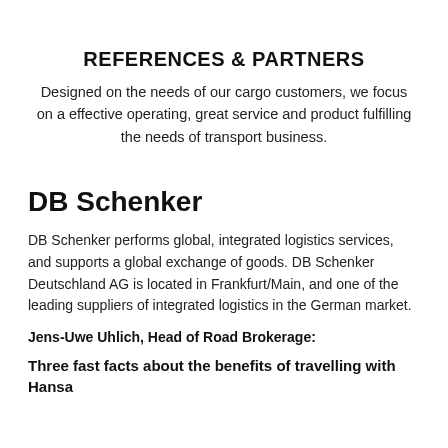REFERENCES & PARTNERS
Designed on the needs of our cargo customers, we focus on a effective operating, great service and product fulfilling the needs of transport business.
DB Schenker
DB Schenker performs global, integrated logistics services, and supports a global exchange of goods. DB Schenker Deutschland AG is located in Frankfurt/Main, and one of the leading suppliers of integrated logistics in the German market.
Jens-Uwe Uhlich, Head of Road Brokerage:
Three fast facts about the benefits of travelling with Hansa